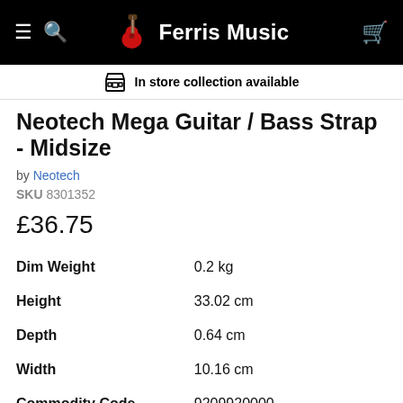Ferris Music
In store collection available
Neotech Mega Guitar / Bass Strap - Midsize
by Neotech
SKU 8301352
£36.75
| Property | Value |
| --- | --- |
| Dim Weight | 0.2 kg |
| Height | 33.02 cm |
| Depth | 0.64 cm |
| Width | 10.16 cm |
| Commodity Code | 9209920000 |